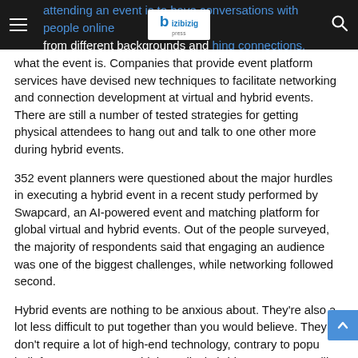attending an event is to have conversations with people online from different backgrounds and connections. Attendees must have easy access to networking no matter
what the event is. Companies that provide event platform services have devised new techniques to facilitate networking and connection development at virtual and hybrid events. There are still a number of tested strategies for getting physical attendees to hang out and talk to one other more during hybrid events.
352 event planners were questioned about the major hurdles in executing a hybrid event in a recent study performed by Swapcard, an AI-powered event and matching platform for global virtual and hybrid events. Out of the people surveyed, the majority of respondents said that engaging an audience was one of the biggest challenges, while networking followed second.
Hybrid events are nothing to be anxious about. They're also a lot less difficult to put together than you would believe. They don't require a lot of high-end technology, contrary to popular belief. You can create a high-quality hybrid event. Use readily available technologies without requiring years of training or